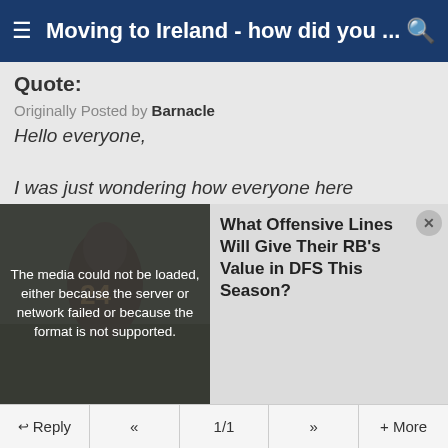Moving to Ireland - how did you ...
Quote:
Originally Posted by Barnacle
Hello everyone,

I was just wondering how everyone here managed their move to Ireland in terms of accommodation. The only thing holding us back from a move there is how to make it work from a practical perspective. Given the housing crisis, how did you go about securing accommodation in Ireland when you arrived?

Did you visit the country first and make offers on
[Figure (screenshot): Media error overlay with text: The media could not be loaded, either because the server or network failed or because the format is not supported. Overlaid on a football player (number 24) background image.]
What Offensive Lines Will Give Their RB's Value in DFS This Season?
Reply  «  1/1  »  + More